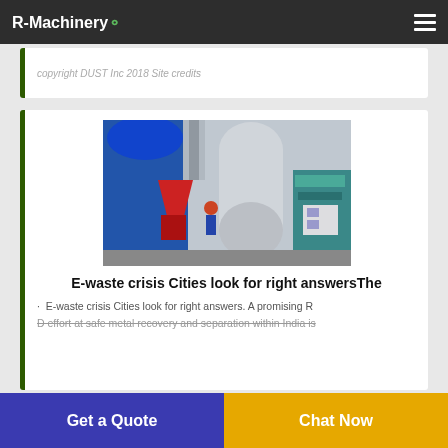R-Machinery
copyright DUST Inc 2018 Site credits
[Figure (photo): Industrial e-waste recycling machinery with blue, red, and teal components in a factory setting]
E-waste crisis Cities look for right answersThe
E-waste crisis Cities look for right answers. A promising R
D effort at safe metal recovery and separation within India is
Get a Quote
Chat Now